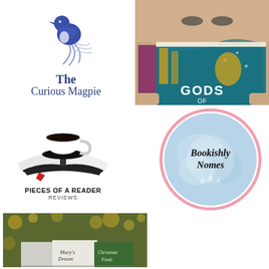[Figure (logo): The Curious Magpie logo: blue/purple magpie bird illustration above text reading 'The Curious Magpie' in dark navy serif font]
[Figure (photo): Photo of a person reading a book with colorful cover showing text 'GODS' visible on cover]
[Figure (logo): Pieces of a Reader Reviews logo: black silhouette of open books with a coffee cup on top, text reads 'PIECES OF A READER' and 'REVIEWS' below]
[Figure (logo): Bookishly Nomes logo: circular badge with pink border, light blue watercolor background, text reads 'Bookishly Nomes' in italic script]
[Figure (photo): Photo of books displayed outdoors with blurred bokeh background, book covers visible including 'Mary's Dream' and 'Christmas Finds']